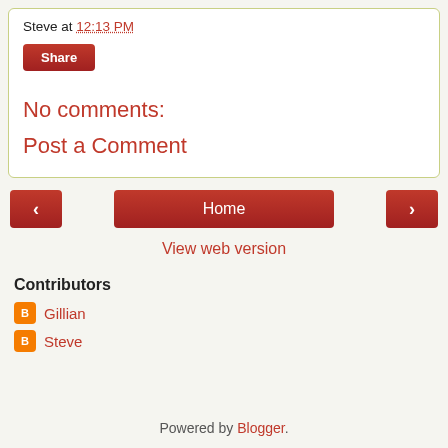Steve at 12:13 PM
Share
No comments:
Post a Comment
‹
Home
›
View web version
Contributors
Gillian
Steve
Powered by Blogger.